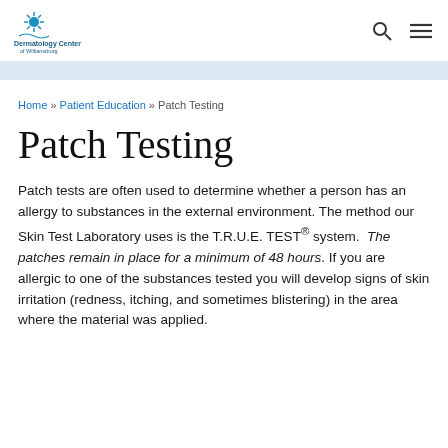Dermatology Center of Williamsburg
Home » Patient Education » Patch Testing
Patch Testing
Patch tests are often used to determine whether a person has an allergy to substances in the external environment. The method our Skin Test Laboratory uses is the T.R.U.E. TEST® system.  The patches remain in place for a minimum of 48 hours. If you are allergic to one of the substances tested you will develop signs of skin irritation (redness, itching, and sometimes blistering) in the area where the material was applied.